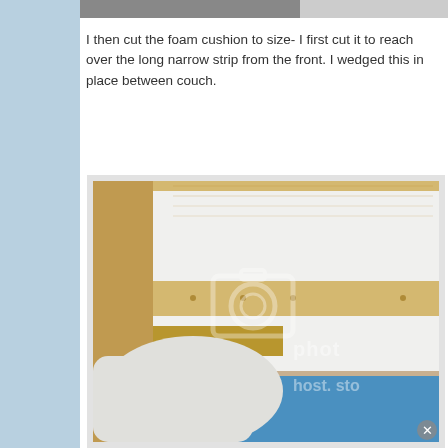[Figure (photo): Partial top edge of a previous photo showing dark/grey content, cropped at top of page]
I then cut the foam cushion to size- I first cut it to reach over the long narrow strip from the front. I wedged this in place between couch.
[Figure (photo): Photo showing foam cushion being wedged into a wooden couch frame. White foam and blue foam visible, wooden slat frame, photobucket watermark overlay. Close-up shot of DIY couch cushion installation.]